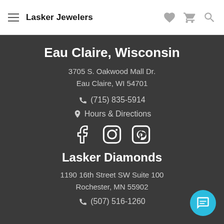Lasker Jewelers
Eau Claire, Wisconsin
3705 S. Oakwood Mall Dr.
Eau Claire, WI 54701
(715) 835-5914
Hours & Directions
[Figure (other): Social media icons: Facebook, Instagram, Pinterest]
Lasker Diamonds
1190 16th Street SW Suite 100
Rochester, MN 55902
(507) 516-1260